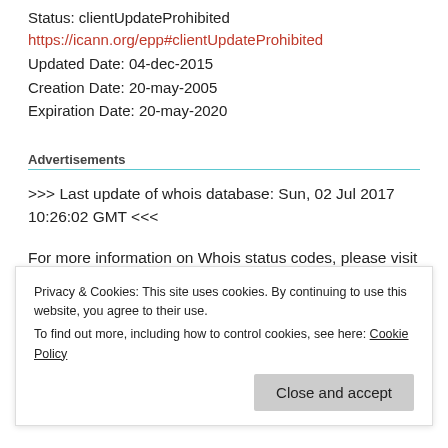Status: clientUpdateProhibited
https://icann.org/epp#clientUpdateProhibited
Updated Date: 04-dec-2015
Creation Date: 20-may-2005
Expiration Date: 20-may-2020
Advertisements
>>> Last update of whois database: Sun, 02 Jul 2017 10:26:02 GMT <<<
For more information on Whois status codes, please visit
Privacy & Cookies: This site uses cookies. By continuing to use this website, you agree to their use. To find out more, including how to control cookies, see here: Cookie Policy
Close and accept
registry conditions for_Dohling_oonh than